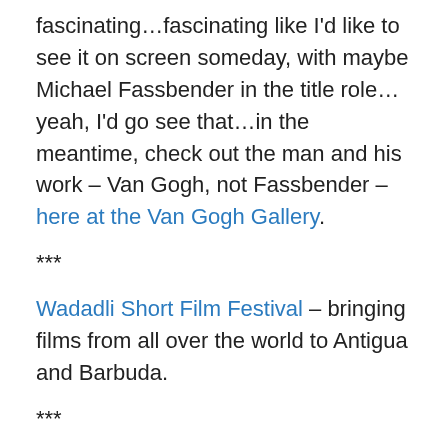fascinating…fascinating like I'd like to see it on screen someday, with maybe Michael Fassbender in the title role…yeah, I'd go see that…in the meantime, check out the man and his work – Van Gogh, not Fassbender – here at the Van Gogh Gallery.
***
Wadadli Short Film Festival – bringing films from all over the world to Antigua and Barbuda.
***
Wadadli West USA – US based group connected to the Villa/Point community in Antigua.
***
http://www.youtube.com/user/WayneBowen – Jamaican